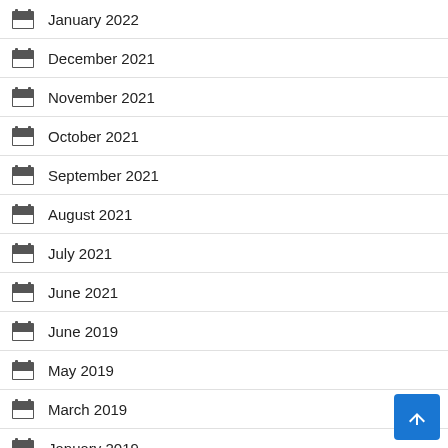January 2022
December 2021
November 2021
October 2021
September 2021
August 2021
July 2021
June 2021
June 2019
May 2019
March 2019
January 2019